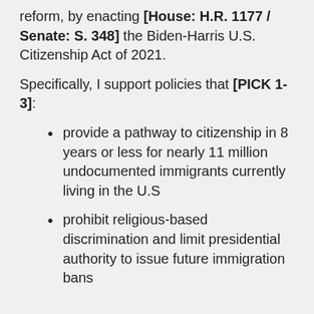reform, by enacting [House: H.R. 1177 / Senate: S. 348] the Biden-Harris U.S. Citizenship Act of 2021.
Specifically, I support policies that [PICK 1-3]:
provide a pathway to citizenship in 8 years or less for nearly 11 million undocumented immigrants currently living in the U.S
prohibit religious-based discrimination and limit presidential authority to issue future immigration bans